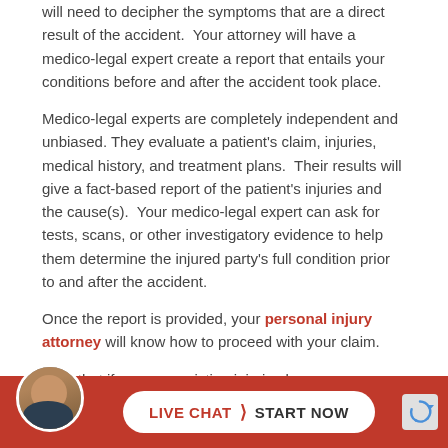will need to decipher the symptoms that are a direct result of the accident. Your attorney will have a medico-legal expert create a report that entails your conditions before and after the accident took place.
Medico-legal experts are completely independent and unbiased. They evaluate a patient’s claim, injuries, medical history, and treatment plans. Their results will give a fact-based report of the patient’s injuries and the cause(s). Your medico-legal expert can ask for tests, scans, or other investigatory evidence to help them determine the injured party’s full condition prior to and after the accident.
Once the report is provided, your personal injury attorney will know how to proceed with your claim.
Note that if your pre-existing injuries become more severe as a cause of the accident, the at-fault party will be liable for the injury caus... This...
[Figure (other): Live chat call-to-action bar with attorney avatar photo, white pill-shaped button reading LIVE CHAT > START NOW on a red background]